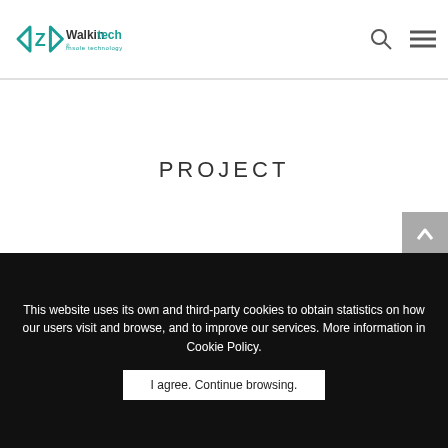[Figure (logo): Walkintech logo with angular bracket design and teal color scheme, subtitle reads 'Insole technology']
PROJECT
This website uses its own and third-party cookies to obtain statistics on how our users visit and browse, and to improve our services. More information in Cookie Policy.
I agree. Continue browsing.